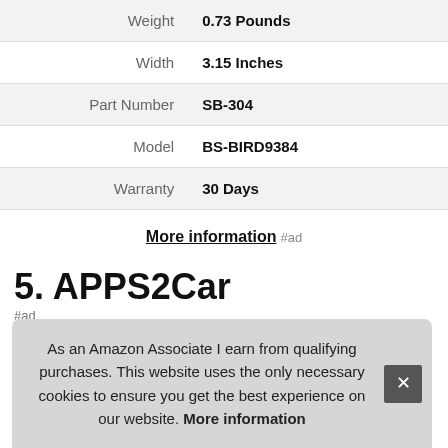|  |  |
| --- | --- |
| Weight | 0.73 Pounds |
| Width | 3.15 Inches |
| Part Number | SB-304 |
| Model | BS-BIRD9384 |
| Warranty | 30 Days |
More information #ad
5. APPS2Car
#ad
As an Amazon Associate I earn from qualifying purchases. This website uses the only necessary cookies to ensure you get the best experience on our website. More information